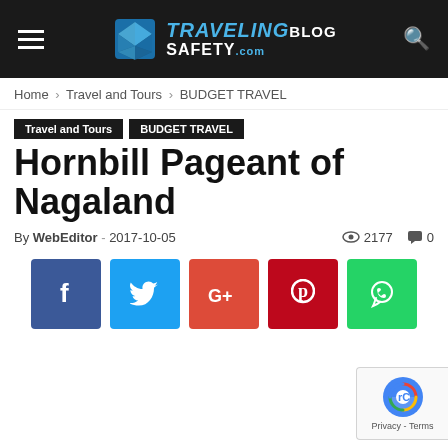TravelingBlogSafety.com
Home › Travel and Tours › BUDGET TRAVEL
Travel and Tours
BUDGET TRAVEL
Hornbill Pageant of Nagaland
By WebEditor - 2017-10-05 · 2177 views · 0 comments
[Figure (infographic): Social share buttons: Facebook, Twitter, Google+, Pinterest, WhatsApp]